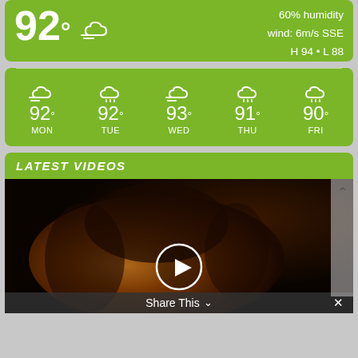92° [windy-cloud icon]
60% humidity
wind: 6m/s SSE
H 94 • L 88
[Figure (other): 5-day weather forecast icons: MON 92°, TUE 92°, WED 93°, THU 91°, FRI 90°, all with cloud/wind icons]
LATEST VIDEOS
[Figure (photo): Dark-toned video thumbnail showing a woman's face in dim orange lighting, with a circular play button overlay. Bottom bar shows 'Share This' with chevron and close button.]